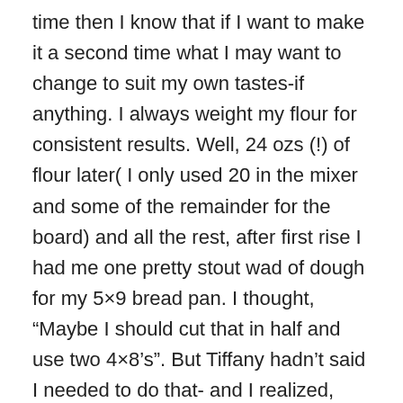time then I know that if I want to make it a second time what I may want to change to suit my own tastes-if anything. I always weight my flour for consistent results. Well, 24 ozs (!) of flour later( I only used 20 in the mixer and some of the remainder for the board) and all the rest, after first rise I had me one pretty stout wad of dough for my 5×9 bread pan. I thought, “Maybe I should cut that in half and use two 4×8’s”. But Tiffany hadn’t said I needed to do that- and I realized, after reading “The Healthy Bread Fiasco” with her and children…well, like Mother Nature, it wasn’t nice to fool with Mother Tiffany. So I merrily proceeded with the second rise and it was about 3/4ths of an inch above the rim after around 45 minutes